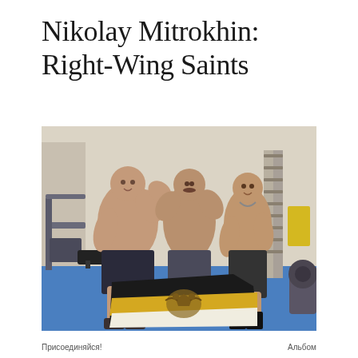Nikolay Mitrokhin: Right-Wing Saints
[Figure (photo): Three muscular shirtless men posing in a gym holding a black, yellow, and white Imperial Russian flag with a double-headed eagle emblem. Gym equipment including a barbell rack and wall bars visible in background.]
Присоединяйся!   Альбом